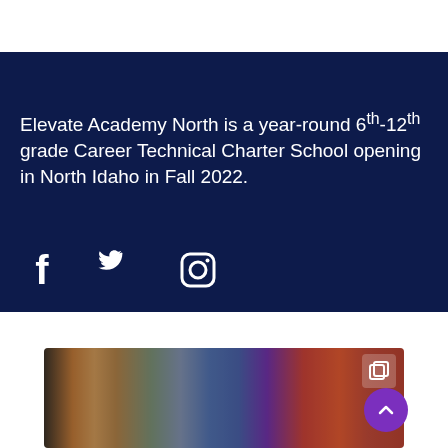Elevate Academy North is a year-round 6th-12th grade Career Technical Charter School opening in North Idaho in Fall 2022.
[Figure (illustration): Social media icons: Facebook, Twitter, Instagram on dark navy background]
[Figure (photo): Group of people at a ribbon-cutting ceremony in front of a building, wearing purple and teal shirts]